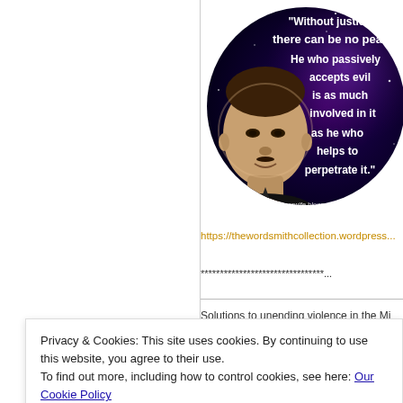[Figure (illustration): Circular image with a dark galaxy/space background featuring a photo of Martin Luther King Jr. on the left side and a quote in white bold text on the right: 'Without justice, there can be no peace. He who passively accepts evil is as much involved in it as he who helps to perpetrate it.' A watermark at the bottom reads http://bearwife.blogspot.com]
https://thewordsmithcollection.wordpress...
**********************************...
Solutions to unending violence in the Mi... of ... n... a m... cia...
Privacy & Cookies: This site uses cookies. By continuing to use this website, you agree to their use.
To find out more, including how to control cookies, see here: Our Cookie Policy
Close and accept